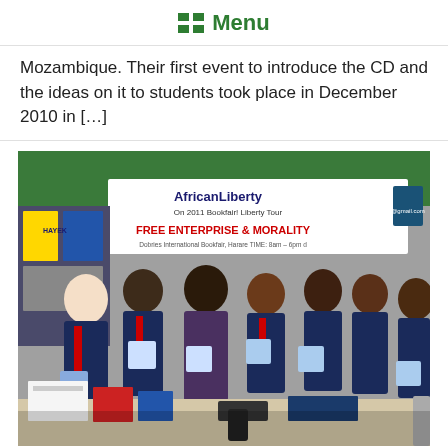Menu
Mozambique. Their first event to introduce the CD and the ideas on it to students took place in December 2010 in […]
[Figure (photo): Group of school students in navy blazers with red ties holding CDs at an AfricanLiberty bookfair booth. A banner reads 'AfricanLiberty On 2011 Bookfair! Liberty Tour — FREE ENTERPRISE & MORALITY'. Books and materials are on the table in front of them.]